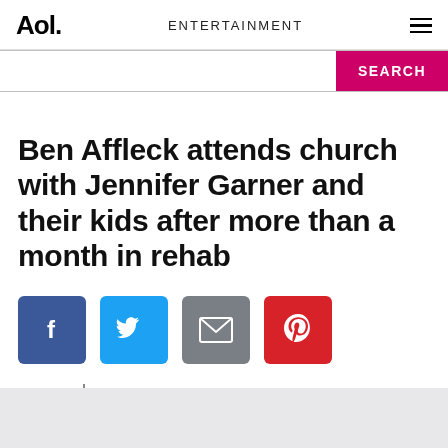Aol. ENTERTAINMENT
[Figure (screenshot): Search bar with pink SEARCH button on the right]
Ben Affleck attends church with Jennifer Garner and their kids after more than a month in rehab
[Figure (infographic): Social share buttons: Facebook (blue), Twitter (light blue), Email (gray), Pinterest (red)]
ET | RACHEL MCRADY
October 1, 2018, 9:15 AM